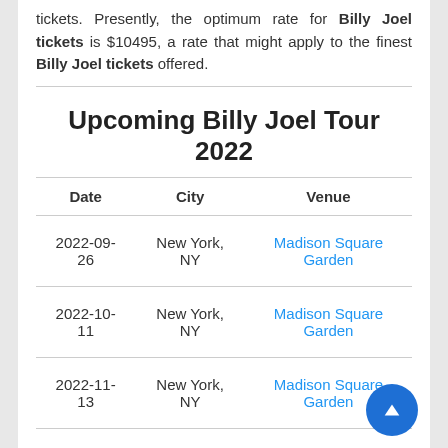tickets. Presently, the optimum rate for Billy Joel tickets is $10495, a rate that might apply to the finest Billy Joel tickets offered.
Upcoming Billy Joel Tour 2022
| Date | City | Venue |
| --- | --- | --- |
| 2022-09-26 | New York, NY | Madison Square Garden |
| 2022-10-11 | New York, NY | Madison Square Garden |
| 2022-11-13 | New York, NY | Madison Square Garden |